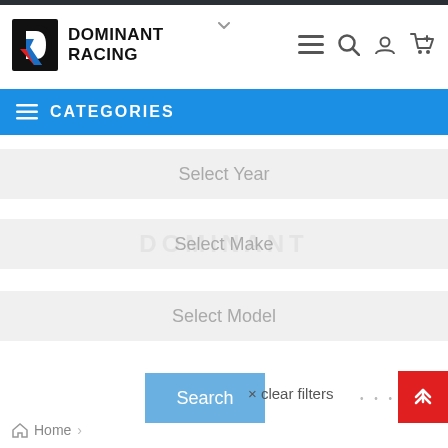[Figure (logo): Dominant Racing logo with stylized D/R icon in black, red, and blue, and bold text 'DOMINANT RACING']
CATEGORIES
Select Year
Select Make
Select Model
Search
× clear filters
Home >